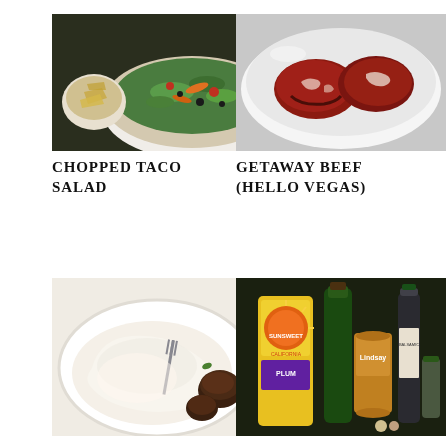[Figure (photo): A bowl of chopped taco salad with greens, carrots, black olives, and tortilla chips on the side]
[Figure (photo): Two raw beef cuts in a white ceramic slow cooker/dish]
CHOPPED TACO SALAD
GETAWAY BEEF (HELLO VEGAS)
[Figure (photo): A fried egg with sausage and a fork on a white plate]
[Figure (photo): Ingredients including Sunsweet prunes, plum tomatoes can, Lindsay olives, olive oil bottle, and spices]